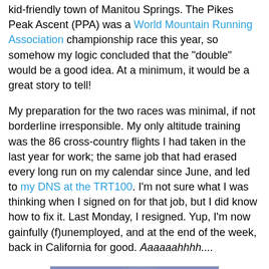kid-friendly town of Manitou Springs. The Pikes Peak Ascent (PPA) was a World Mountain Running Association championship race this year, so somehow my logic concluded that the "double" would be a good idea. At a minimum, it would be a great story to tell!
My preparation for the two races was minimal, if not borderline irresponsible. My only altitude training was the 86 cross-country flights I had taken in the last year for work; the same job that had erased every long run on my calendar since June, and led to my DNS at the TRT100. I'm not sure what I was thinking when I signed on for that job, but I did know how to fix it. Last Monday, I resigned. Yup, I'm now gainfully (f)unemployed, and at the end of the week, back in California for good. Aaaaaahhhh....
[Figure (photo): Silhouette of a person leaping between rocks against a dramatic sunset/sunrise sky with purple and orange hues.]